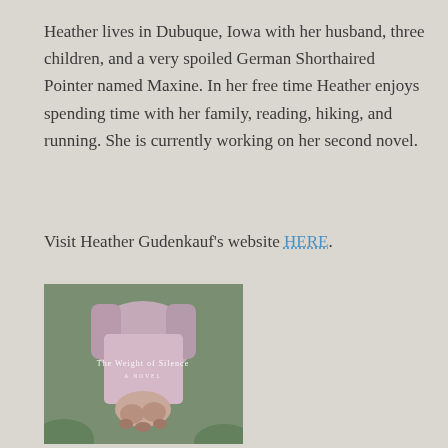Heather lives in Dubuque, Iowa with her husband, three children, and a very spoiled German Shorthaired Pointer named Maxine. In her free time Heather enjoys spending time with her family, reading, hiking, and running. She is currently working on her second novel.
Visit Heather Gudenkauf's website HERE.
[Figure (photo): Book cover of 'The Weight of Silence: A Novel' showing a person with hands clasped behind their back wearing a pink/purple top, photographed from behind against a green leafy background.]